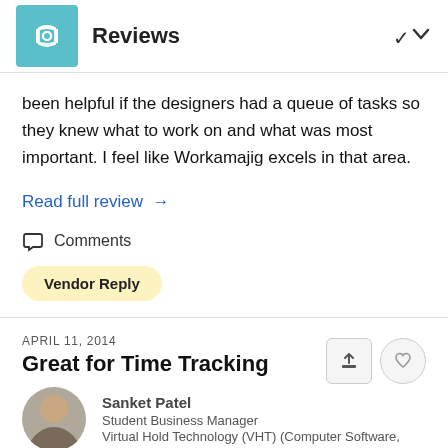Reviews
been helpful if the designers had a queue of tasks so they knew what to work on and what was most important. I feel like Workamajig excels in that area.
Read full review →
Comments
Vendor Reply
APRIL 11, 2014
Great for Time Tracking
Sanket Patel
Student Business Manager
Virtual Hold Technology (VHT) (Computer Software,